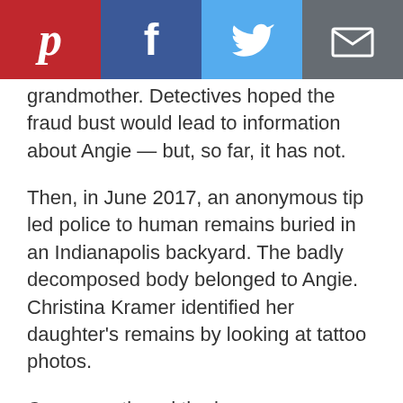[Figure (other): Social media sharing bar with Pinterest, Facebook, Twitter, and Email buttons]
grandmother. Detectives hoped the fraud bust would lead to information about Angie — but, so far, it has not.
Then, in June 2017, an anonymous tip led police to human remains buried in an Indianapolis backyard. The badly decomposed body belonged to Angie. Christina Kramer identified her daughter's remains by looking at tattoo photos.
Cops questioned the homeowner where the grave was located, but cut him loose. He had only moved into the residence recently, before which it had been unoccupied.
Between the secretive couple who hired Angie to dance and the fraud case against Angie's grandmother, detectives have been examining the possibility of a larger conspiracy at work.